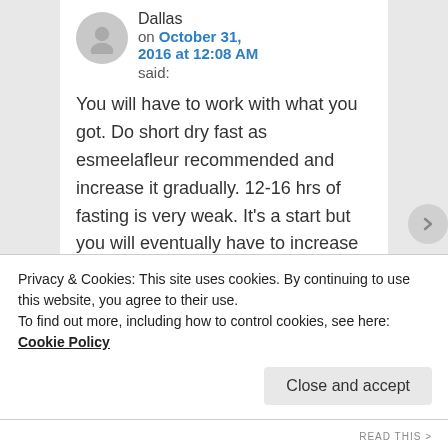Dallas
on October 31, 2016 at 12:08 AM
said:
You will have to work with what you got. Do short dry fast as esmeelafleur recommended and increase it gradually. 12-16 hrs of fasting is very weak. It’s a start but you will eventually have to increase it to 32-42 hrs dry a week. If your body is in a really bad condition it
Privacy & Cookies: This site uses cookies. By continuing to use this website, you agree to their use.
To find out more, including how to control cookies, see here: Cookie Policy
Close and accept